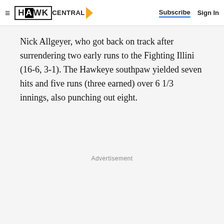Hawk Central | Subscribe | Sign In
Nick Allgeyer, who got back on track after surrendering two early runs to the Fighting Illini (16-6, 3-1). The Hawkeye southpaw yielded seven hits and five runs (three earned) over 6 1/3 innings, also punching out eight.
Advertisement